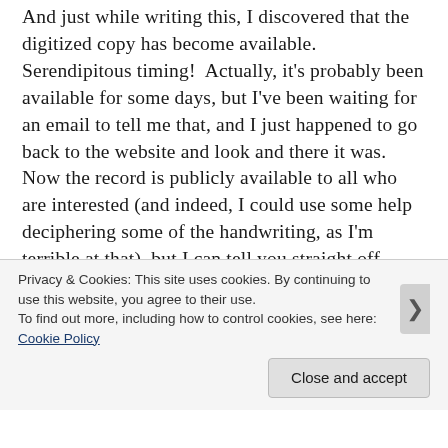And just while writing this, I discovered that the digitized copy has become available.  Serendipitous timing!  Actually, it's probably been available for some days, but I've been waiting for an email to tell me that, and I just happened to go back to the website and look and there it was.  Now the record is publicly available to all who are interested (and indeed, I could use some help deciphering some of the handwriting, as I'm terrible at that), but I can tell you straight off, based on the particulars in the file, that this is indeed my John Fraser.  From a quick glance I see a record of his being wounded in the Gallipoli campaign seriously enough that he was
Privacy & Cookies: This site uses cookies. By continuing to use this website, you agree to their use.
To find out more, including how to control cookies, see here: Cookie Policy